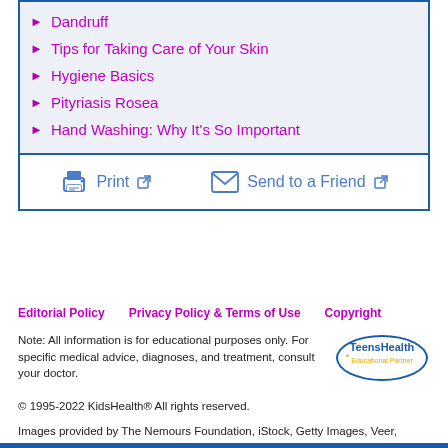Dandruff
Tips for Taking Care of Your Skin
Hygiene Basics
Pityriasis Rosea
Hand Washing: Why It's So Important
Print  Send to a Friend
Editorial Policy   Privacy Policy & Terms of Use   Copyright
Note: All information is for educational purposes only. For specific medical advice, diagnoses, and treatment, consult your doctor.
[Figure (logo): TeensHealth Educational Partner logo]
© 1995-2022 KidsHealth® All rights reserved.
Images provided by The Nemours Foundation, iStock, Getty Images, Veer, Shutterstock, and Clipart.com.